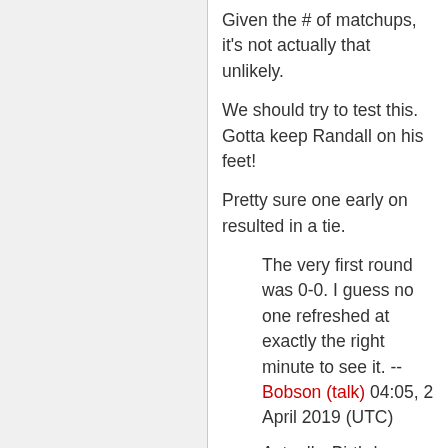Given the # of matchups, it's not actually that unlikely.
We should try to test this. Gotta keep Randall on his feet!
Pretty sure one early on resulted in a tie.
The very first round was 0-0. I guess no one refreshed at exactly the right minute to see it. --Bobson (talk) 04:05, 2 April 2019 (UTC)
Actually, Birthday Cake vs Cupcake was a tie at 3658:3658. Birthday Cake advanced. I wonder why? (from the socket: [{"score":3658,"competitor":"🎂 {"score":3658,"competitor":"🎅